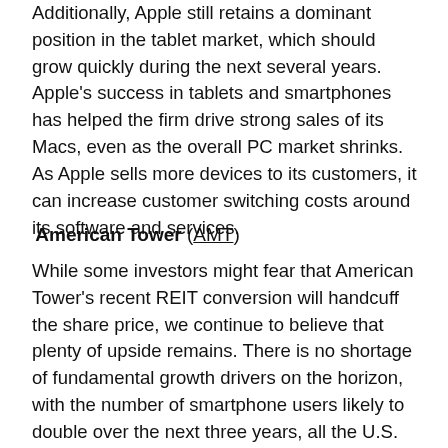Additionally, Apple still retains a dominant position in the tablet market, which should grow quickly during the next several years. Apple's success in tablets and smartphones has helped the firm drive strong sales of its Macs, even as the overall PC market shrinks. As Apple sells more devices to its customers, it can increase customer switching costs around its software and services.
American Tower (AMT)
While some investors might fear that American Tower's recent REIT conversion will handcuff the share price, we continue to believe that plenty of upside remains. There is no shortage of fundamental growth drivers on the horizon, with the number of smartphone users likely to double over the next three years, all the U.S. carriers deploying 4G networks, and AMT expanding internationally. Ultimately, the REIT conversion should...